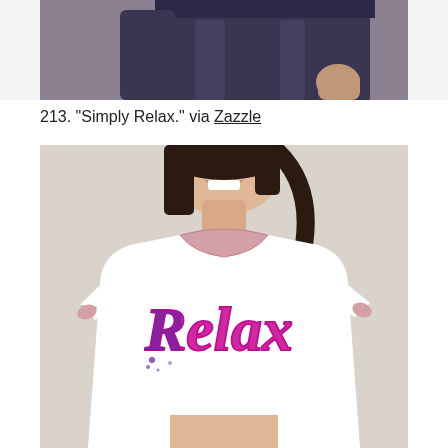[Figure (photo): Top cropped portion of a person wearing dark jeans, showing the lower torso and one hand visible.]
213. “Simply Relax.” via Zazzle
[Figure (photo): A smiling woman wearing a white ringer t-shirt with pink trim collar and sleeves, printed with the word 'Relax' in stylized purple and pink typography.]